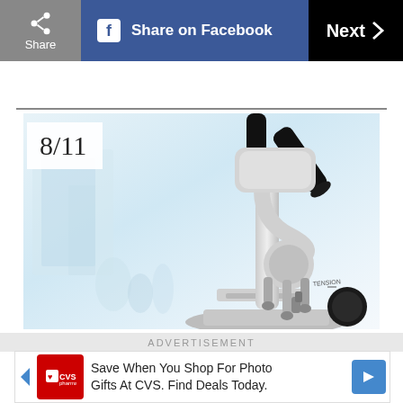Share | Share on Facebook | Next
8/11
[Figure (photo): Close-up photograph of a white laboratory binocular microscope with black eyepieces and objective lenses, set against a bright, blurred laboratory background with glassware visible.]
ADVERTISEMENT
Save When You Shop For Photo Gifts At CVS. Find Deals Today.